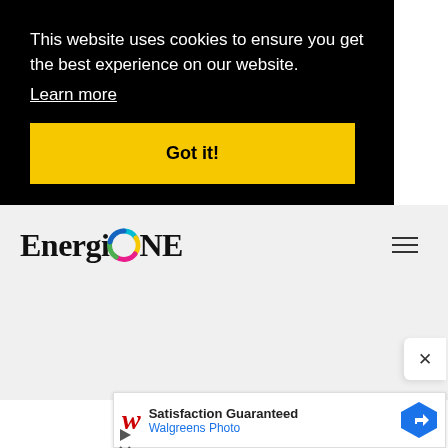This website uses cookies to ensure you get the best experience on our website. Learn more
Got it!
[Figure (logo): EnergiONE logo with colorful swirl replacing the letter O]
[Figure (screenshot): Advertisement: Walgreens Photo - Satisfaction Guaranteed]